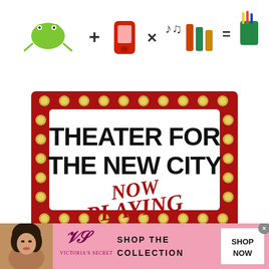[Figure (illustration): Row of colorful cartoon icons including frog/bug, math symbols, telephone, musical notes, xylophone, and cup with pencils on white background]
[Figure (illustration): Theater marquee sign with red border and gold studs. Large black bold text reads THEATER FOR THE NEW CITY. Below in red decorative circus/carnival font: NOW PLAYING]
[Figure (photo): Victoria's Secret advertisement banner. Pink background with woman's photo on left, VS logo and VICTORIA'S SECRET text, SHOP THE COLLECTION text, and white SHOP NOW button on right. Close X button in top right corner.]